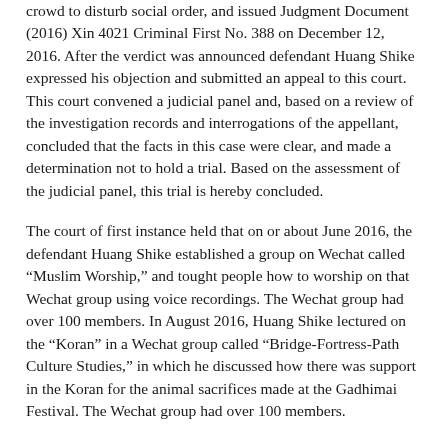crowd to disturb social order, and issued Judgment Document (2016) Xin 4021 Criminal First No. 388 on December 12, 2016. After the verdict was announced defendant Huang Shike expressed his objection and submitted an appeal to this court. This court convened a judicial panel and, based on a review of the investigation records and interrogations of the appellant, concluded that the facts in this case were clear, and made a determination not to hold a trial. Based on the assessment of the judicial panel, this trial is hereby concluded.
The court of first instance held that on or about June 2016, the defendant Huang Shike established a group on Wechat called "Muslim Worship," and tought people how to worship on that Wechat group using voice recordings. The Wechat group had over 100 members. In August 2016, Huang Shike lectured on the "Koran" in a Wechat group called "Bridge-Fortress-Path Culture Studies," in which he discussed how there was support in the Koran for the animal sacrifices made at the Gadhimai Festival. The Wechat group had over 100 members.